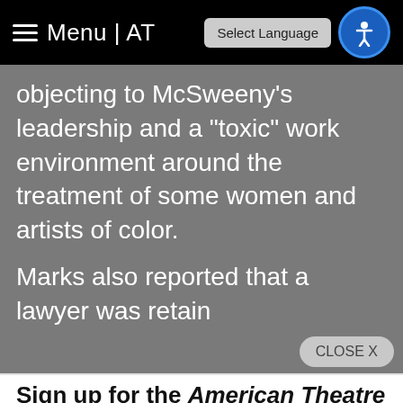Menu | AT
objecting to McSweeny’s leadership and a “toxic” work environment around the treatment of some women and artists of color.
Marks also reported that a lawyer was retain…
Sign up for the American Theatre newsletter
Get notified about upcoming live conversations with artists and when the next issue of the American Theatre is released.
✉ Sign up